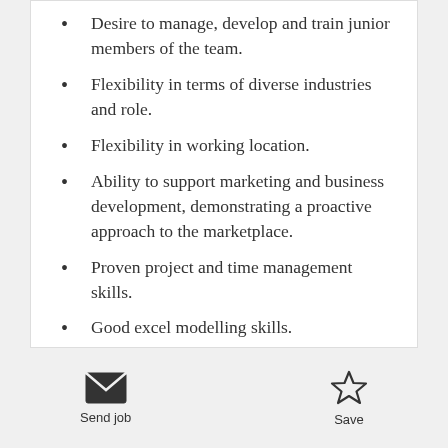Desire to manage, develop and train junior members of the team.
Flexibility in terms of diverse industries and role.
Flexibility in working location.
Ability to support marketing and business development, demonstrating a proactive approach to the marketplace.
Proven project and time management skills.
Good excel modelling skills.
Ability to work to tight deadlines in a pressurised working environment.
Send job | Save